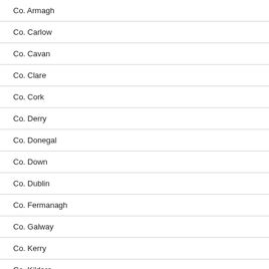Co. Armagh
Co. Carlow
Co. Cavan
Co. Clare
Co. Cork
Co. Derry
Co. Donegal
Co. Down
Co. Dublin
Co. Fermanagh
Co. Galway
Co. Kerry
Co. Kildare
Co. Kilkenny
Co. Laois